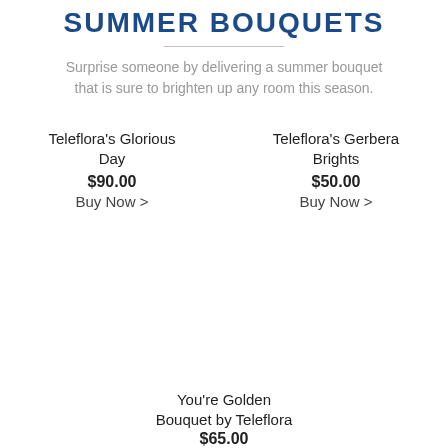SUMMER BOUQUETS
Surprise someone by delivering a summer bouquet that is sure to brighten up any room this season.
Teleflora's Glorious Day
$90.00
Buy Now >
Teleflora's Gerbera Brights
$50.00
Buy Now >
You're Golden Bouquet by Teleflora
$65.00